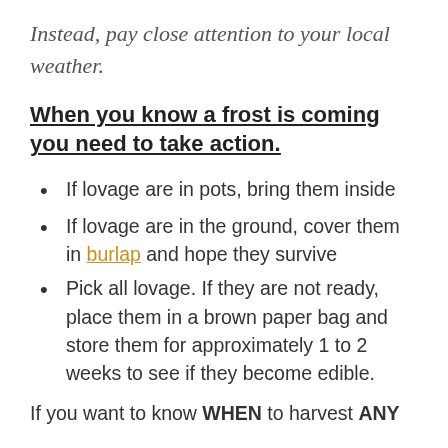Instead, pay close attention to your local weather.
When you know a frost is coming you need to take action.
If lovage are in pots, bring them inside
If lovage are in the ground, cover them in burlap and hope they survive
Pick all lovage. If they are not ready, place them in a brown paper bag and store them for approximately 1 to 2 weeks to see if they become edible.
If you want to know WHEN to harvest ANY